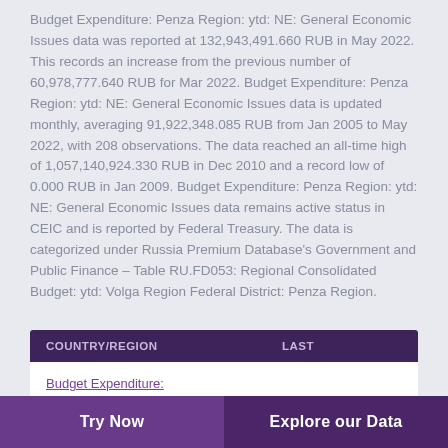Budget Expenditure: Penza Region: ytd: NE: General Economic Issues data was reported at 132,943,491.660 RUB in May 2022. This records an increase from the previous number of 60,978,777.640 RUB for Mar 2022. Budget Expenditure: Penza Region: ytd: NE: General Economic Issues data is updated monthly, averaging 91,922,348.085 RUB from Jan 2005 to May 2022, with 208 observations. The data reached an all-time high of 1,057,140,924.330 RUB in Dec 2010 and a record low of 0.000 RUB in Jan 2009. Budget Expenditure: Penza Region: ytd: NE: General Economic Issues data remains active status in CEIC and is reported by Federal Treasury. The data is categorized under Russia Premium Database's Government and Public Finance – Table RU.FD053: Regional Consolidated Budget: ytd: Volga Region Federal District: Penza Region.
| COUNTRY/REGION | LAST |
| --- | --- |
| Budget Expenditure: |  |
Try Now    Explore our Data